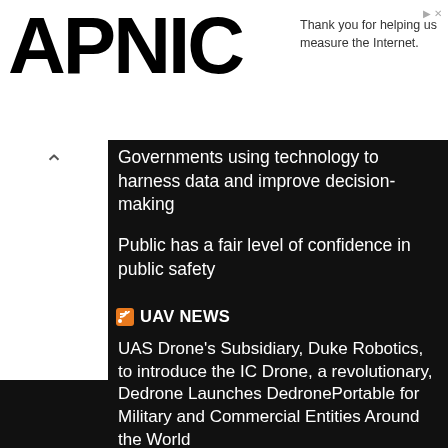APNIC
Thank you for helping us measure the Internet.
Governments using technology to harness data and improve decision-making
Public has a fair level of confidence in public safety
UAV NEWS
UAS Drone's Subsidiary, Duke Robotics, to introduce the IC Drone, a revolutionary, safer, and cost-efficient drone technology for conducting routine maintenance of critical infrastructure
Dedrone Launches DedronePortable for Military and Commercial Entities Around the World